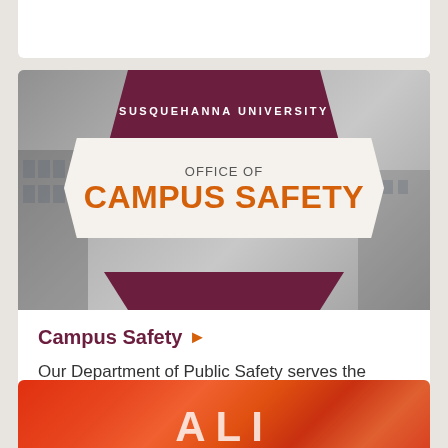[Figure (logo): Susquehanna University Office of Campus Safety banner image with maroon pentagon shape at top, white ribbon in center reading 'OFFICE OF CAMPUS SAFETY' in orange bold text, and maroon chevron at bottom, over a grayscale campus building background.]
Campus Safety ▶
Our Department of Public Safety serves the campus community 24 hours a day, seven days a week.
[Figure (photo): Partial photo showing red/orange emergency signage with large white letters visible at bottom of page, cropped.]